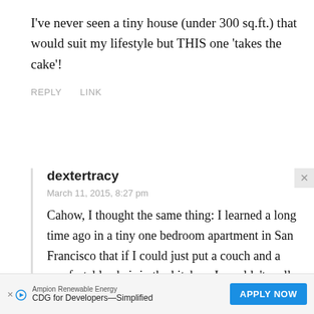I've never seen a tiny house (under 300 sq.ft.) that would suit my lifestyle but THIS one 'takes the cake'!
REPLY   LINK
dextertracy
March 11, 2015, 8:27 pm
Cahow, I thought the same thing: I learned a long time ago in a tiny one bedroom apartment in San Francisco that if I could just put a couch and a comfortable chair in the kitchen, I wouldn't really
Ampion Renewable Energy CDG for Developers—Simplified  APPLY NOW